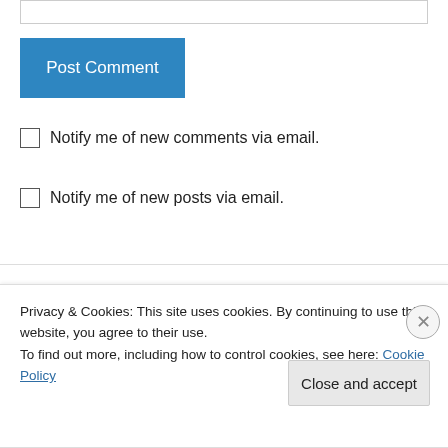[Figure (other): Input text box (top border visible)]
Post Comment
Notify me of new comments via email.
Notify me of new posts via email.
Oldcat on November 15, 2014 at 11:17 pm
You are assuming that your cats classify you and humans as the same category. You might have
Privacy & Cookies: This site uses cookies. By continuing to use this website, you agree to their use. To find out more, including how to control cookies, see here: Cookie Policy
Close and accept